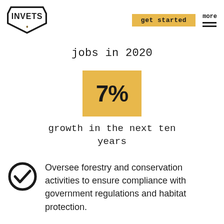INVETS | get started | more
jobs in 2020
[Figure (infographic): Golden/amber square box containing bold text '7%' representing 7% growth statistic]
growth in the next ten years
Oversee forestry and conservation activities to ensure compliance with government regulations and habitat protection.